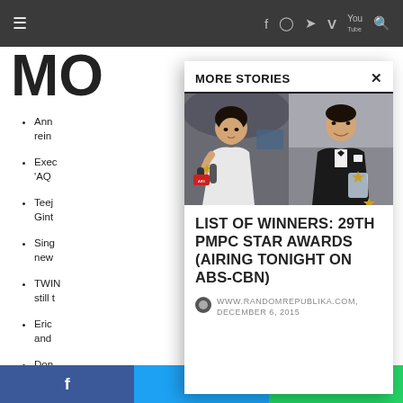≡  f  ○  🐦  V  You  🔍
MO
Ann reint
Exec 'AQ
Teej Gint
Sing new
TWIN still t
Eric and
Don *kilic
MORE STORIES
[Figure (photo): Two photos side by side: left photo shows a young woman in white dress holding a star award trophy, being interviewed with microphones; right photo shows a young man in black tuxedo holding a star award trophy.]
LIST OF WINNERS: 29TH PMPC STAR AWARDS (AIRING TONIGHT ON ABS-CBN)
WWW.RANDOMREPUBLIKA.COM, DECEMBER 6, 2015
f  [Twitter]  [WhatsApp]